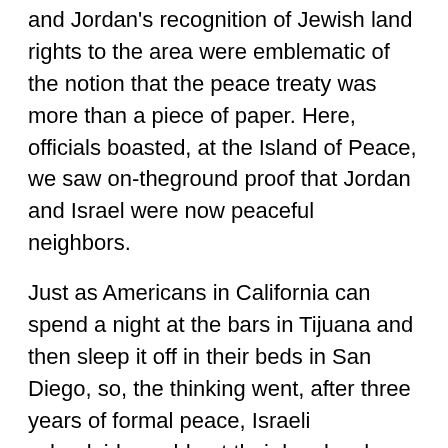and Jordan's recognition of Jewish land rights to the area were emblematic of the notion that the peace treaty was more than a piece of paper. Here, officials boasted, at the Island of Peace, we saw on-theground proof that Jordan and Israel were now peaceful neighbors.
Just as Americans in California can spend a night at the bars in Tijuana and then sleep it off in their beds in San Diego, so, the thinking went, after three years of formal peace, Israeli schoolgirls could eat their box lunches in Jordan, at the Island of Peace, and be home in time for dinner in Beit Shemesh.